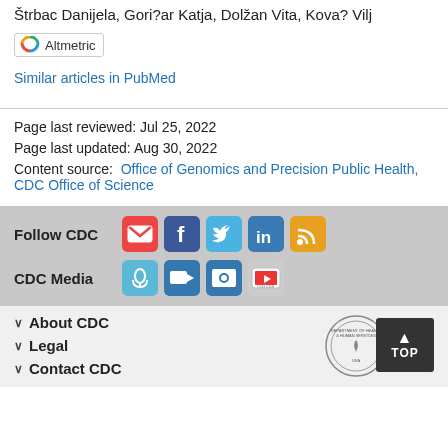Štrbac Danijela, Gori?ar Katja, Dolžan Vita, Kova? Vilj
[Figure (logo): Altmetric badge with rainbow donut icon and text 'Altmetric']
Similar articles in PubMed
Page last reviewed: Jul 25, 2022
Page last updated: Aug 30, 2022
Content source:  Office of Genomics and Precision Public Health, CDC Office of Science
[Figure (infographic): Follow CDC social media icons: email (red), Facebook (blue), Twitter (blue), LinkedIn (blue), RSS (orange). CDC Media icons: podcast (light blue), video camera (blue), photos (blue), YouTube (red/white).]
About CDC
Legal
Contact CDC
[Figure (logo): HHS seal - Department of Health and Human Services circular seal]
TOP